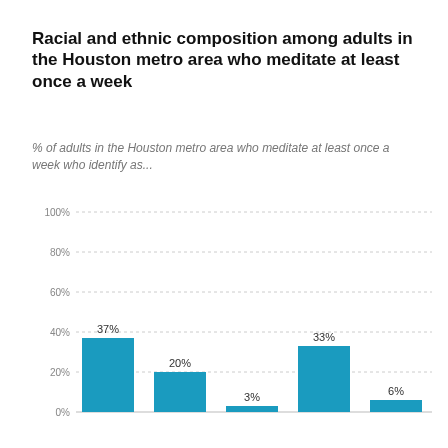Racial and ethnic composition among adults in the Houston metro area who meditate at least once a week
% of adults in the Houston metro area who meditate at least once a week who identify as...
[Figure (bar-chart): Racial and ethnic composition among adults in the Houston metro area who meditate at least once a week]